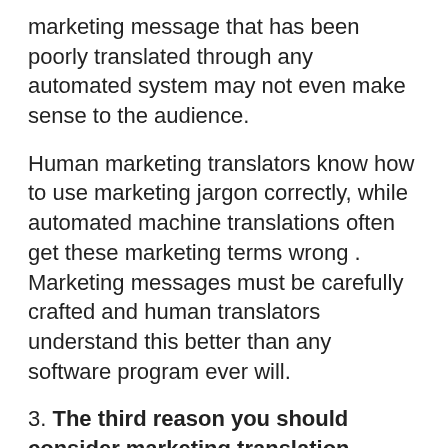marketing message that has been poorly translated through any automated system may not even make sense to the audience.
Human marketing translators know how to use marketing jargon correctly, while automated machine translations often get these marketing terms wrong . Marketing messages must be carefully crafted and human translators understand this better than any software program ever will.
3. The third reason you should consider marketing translation services is that it could help you reach a wider audience with your business marketing campaigns.
This may sound like a simple benefit but its one thing many businesses of all sizes often forget about when deciding whether or not to invest in marketing translations is that there are hundreds if not thousands of people who do not speak your native tongue even though you think